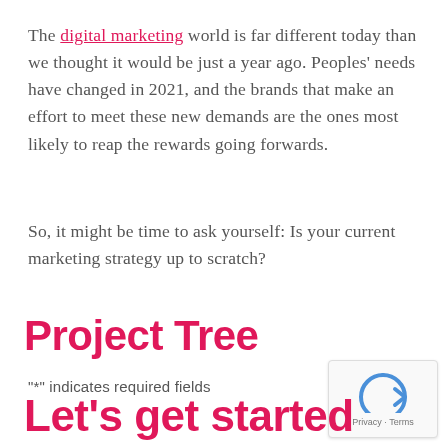The digital marketing world is far different today than we thought it would be just a year ago. Peoples' needs have changed in 2021, and the brands that make an effort to meet these new demands are the ones most likely to reap the rewards going forwards.
So, it might be time to ask yourself: Is your current marketing strategy up to scratch?
Project Tree
"*" indicates required fields
[Figure (logo): reCAPTCHA badge with Google logo and Privacy · Terms text]
Let's get started